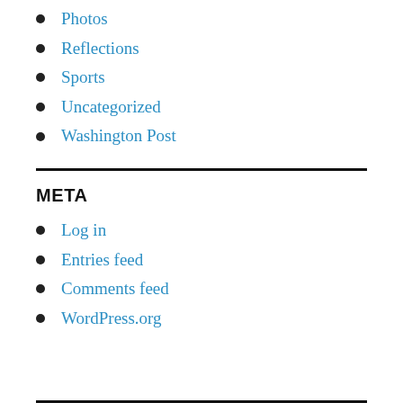Photos
Reflections
Sports
Uncategorized
Washington Post
META
Log in
Entries feed
Comments feed
WordPress.org